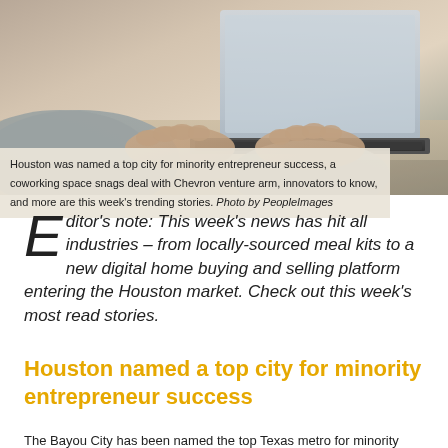[Figure (photo): Person's hands typing on a laptop keyboard, close-up shot with a grey sweater visible]
Houston was named a top city for minority entrepreneur success, a coworking space snags deal with Chevron venture arm, innovators to know, and more are this week's trending stories. Photo by PeopleImages
Editor's note: This week's news has hit all industries – from locally-sourced meal kits to a new digital home buying and selling platform entering the Houston market. Check out this week's most read stories.
Houston named a top city for minority entrepreneur success
The Bayou City has been named the top Texas metro for minority entrepreneurial